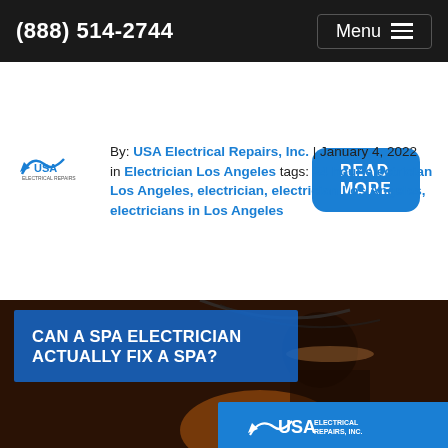(888) 514-2744
READ MORE
By: USA Electrical Repairs, Inc. | January 4, 2022
in Electrician Los Angeles  tags: 24 hour electrician Los Angeles, electrician, electrician Los Angeles, electricians in Los Angeles
[Figure (photo): Electrician working on electrical panel/wiring, with blue overlay text box reading 'CAN A SPA ELECTRICIAN ACTUALLY FIX A SPA?' and USA Electrical Repairs, Inc. logo at bottom right]